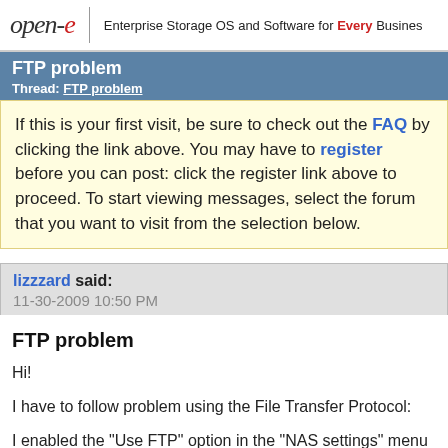open-e | Enterprise Storage OS and Software for Every Business
FTP problem
Thread: FTP problem
If this is your first visit, be sure to check out the FAQ by clicking the link above. You may have to register before you can post: click the register link above to proceed. To start viewing messages, select the forum that you want to visit from the selection below.
lizzzard said:
11-30-2009 10:50 PM
FTP problem
Hi!
I have to follow problem using the File Transfer Protocol:
I enabled the "Use FTP" option in the "NAS settings" menu